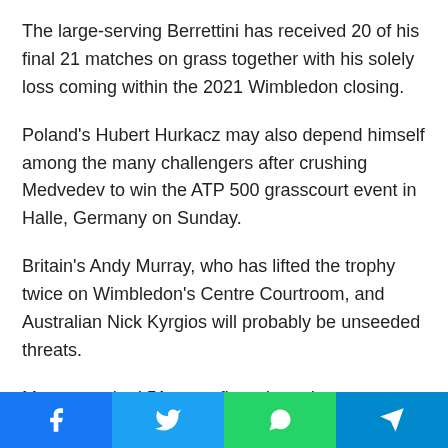The large-serving Berrettini has received 20 of his final 21 matches on grass together with his solely loss coming within the 2021 Wimbledon closing.
Poland's Hubert Hurkacz may also depend himself among the many challengers after crushing Medvedev to win the ATP 500 grasscourt event in Halle, Germany on Sunday.
Britain's Andy Murray, who has lifted the trophy twice on Wimbledon's Centre Courtroom, and Australian Nick Kyrgios will probably be unseeded threats.
Murray, ranked 51st, confirmed sturdy grasscourt kind together with his runner-up end in Stuttgart however is racing towards time to be match after sustaining an belly
[Figure (other): Social sharing buttons bar with Facebook, Twitter, WhatsApp, and Telegram icons]